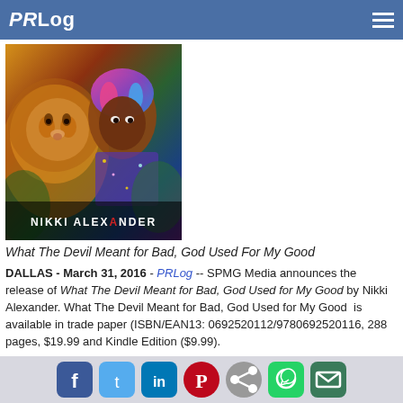PRLog
[Figure (illustration): Book cover for 'What The Devil Meant for Bad, God Used For My Good' by Nikki Alexander, featuring a young Black girl with colorful hair alongside a lion, with the author's name in bold text at the bottom.]
What The Devil Meant for Bad, God Used For My Good
DALLAS - March 31, 2016 - PRLog -- SPMG Media announces the release of What The Devil Meant for Bad, God Used for My Good by Nikki Alexander. What The Devil Meant for Bad, God Used for My Good is available in trade paper (ISBN/EAN13: 0692520112/9780692520116, 288 pages, $19.99 and Kindle Edition ($9.99).
Alexander's debut tell all What The Devil Meant for Bad, God Used for My Good, gives insight into her amazing story of personal tragedies and ultimate triumphs from a child to an adult. This transparent work leaves no room for questions. Within each chapter she shares how her faith empowered her to...
Spread the Word:
Social sharing icons: Facebook, Twitter, LinkedIn, Pinterest, Share, WhatsApp, Email